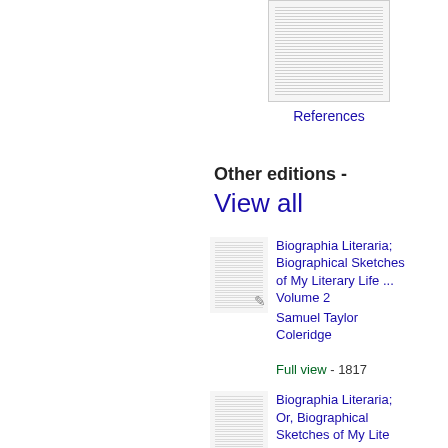[Figure (illustration): Thumbnail image of a book page with dense text, shown in a bordered frame]
References
Other editions -
View all
[Figure (illustration): Thumbnail of book cover for Biographia Literaria Volume 2 with pencil mark]
Biographia Literaria; Biographical Sketches of My Literary Life ... Volume 2
Samuel Taylor Coleridge
Full view - 1817
[Figure (illustration): Thumbnail of book cover for Biographia Literaria Or, Biographical Sketches with pencil mark]
Biographia Literaria; Or, Biographical Sketches of My Lite ..., Volume 2
Samuel Taylor